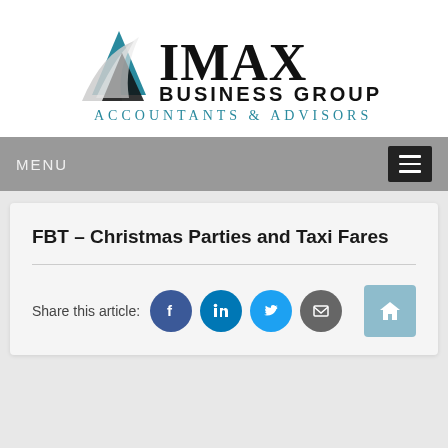[Figure (logo): IMAX Business Group logo with teal triangle and swoosh graphic, text 'IMAX BUSINESS GROUP' and 'ACCOUNTANTS & ADVISORS']
MENU
FBT – Christmas Parties and Taxi Fares
Share this article: